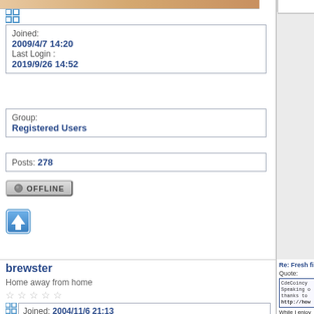| Joined: | 2009/4/7 14:20 |
| Last Login : | 2019/9/26 14:52 |
| Group: | Registered Users |
| Posts: | 278 |
[Figure (screenshot): Offline status button with grey circle icon]
[Figure (screenshot): Up arrow navigation button]
brewster
Home away from home
[Figure (photo): Photo of a tabby and white cat with green eyes against blue background]
[Figure (screenshot): Expand/resize icon]
| Joined: | 2004/11/6 21:13 |
Re: Fresh fish
Quote:
CdeCoincy
Speaking o
thanks to
http://how
While I enjoy eating wh them. When you've go
Blackened porgy fillets know why porgy has th